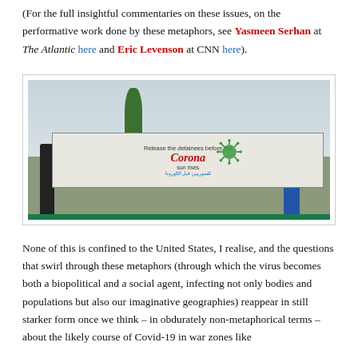(For the full insightful commentaries on these issues, on the performative work done by these metaphors, see Yasmeen Serhan at The Atlantic here and Eric Levenson at CNN here).
[Figure (photo): Photograph of protesters holding a banner reading 'Release the detainees before the Corona sun rises' with Arabic text, a coronavirus illustration, and Palestinian flags. People stand outdoors in front of a low stone wall with a palm tree visible in the background.]
None of this is confined to the United States, I realise, and the questions that swirl through these metaphors (through which the virus becomes both a biopolitical and a social agent, infecting not only bodies and populations but also our imaginative geographies) reappear in still starker form once we think – in obdurately non-metaphorical terms – about the likely course of Covid-19 in war zones like